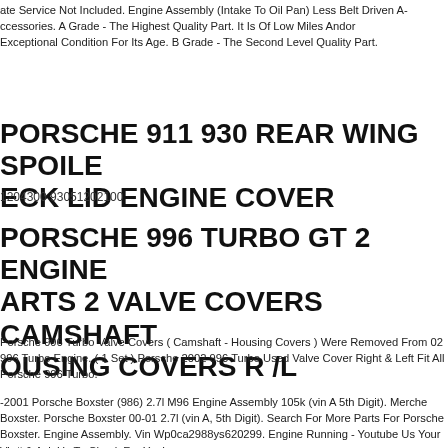ate Service Not Included. Engine Assembly (Intake To Oil Pan) Less Belt Driven Accessories. A Grade - The Highest Quality Part. It Is Of Low Miles Andor Exceptional Condition For Its Age. B Grade - The Second Level Quality Part.
PORSCHE 911 930 REAR WING SPOILER DECK LID ENGINE COVER
1204300 93051202100
PORSCHE 996 TURBO GT 2 ENGINE PARTS 2 VALVE COVERS CAMSHAFT HOUSING COVERS R /L
Porsche 996 Turbo Valve Covers ( Camshaft - Housing Covers ) Were Removed From 02 996 Turbo Engine. ( 1 Set ) Porsche 2002 996 Turbo Used Valve Cover Right & Left Fit All Porsche 996 Turbo.
-2001 Porsche Boxster (986) 2.7l M96 Engine Assembly 105k (vin A 5th Digit). Me Porsche Boxster. Porsche Boxster 00-01 2.7l (vin A, 5th Digit). Search For More Parts For Porsche Boxster. Engine Assembly. Vin Wp0ca2988ys620299. Engine Running - Youtube Us Your Vin# & Ask Us To Check For You!